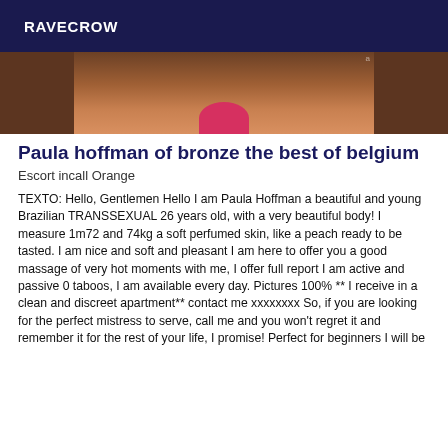RAVECROW
[Figure (photo): Cropped image of a person wearing a pink/red bikini bottom, warm skin tone, dark background]
Paula hoffman of bronze the best of belgium
Escort incall Orange
TEXTO: Hello, Gentlemen Hello I am Paula Hoffman a beautiful and young Brazilian TRANSSEXUAL 26 years old, with a very beautiful body! I measure 1m72 and 74kg a soft perfumed skin, like a peach ready to be tasted. I am nice and soft and pleasant I am here to offer you a good massage of very hot moments with me, I offer full report I am active and passive 0 taboos, I am available every day. Pictures 100% ** I receive in a clean and discreet apartment** contact me xxxxxxxx So, if you are looking for the perfect mistress to serve, call me and you won't regret it and remember it for the rest of your life, I promise! Perfect for beginners I will be